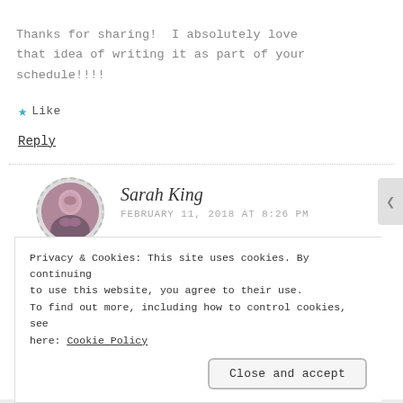Thanks for sharing! I absolutely love that idea of writing it as part of your schedule!!!!
★ Like
Reply
Sarah King
FEBRUARY 11, 2018 AT 8:26 PM
Privacy & Cookies: This site uses cookies. By continuing to use this website, you agree to their use.
To find out more, including how to control cookies, see here: Cookie Policy
Close and accept